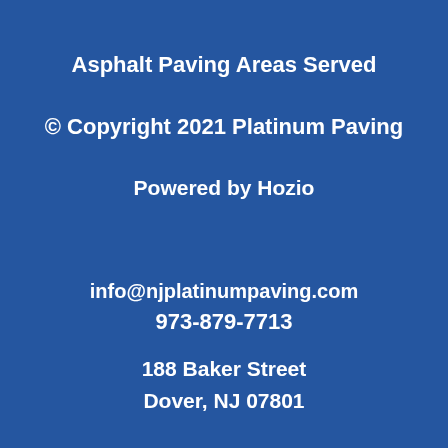Asphalt Paving Areas Served
© Copyright 2021 Platinum Paving
Powered by Hozio
info@njplatinumpaving.com
973-879-7713
188 Baker Street
Dover, NJ 07801